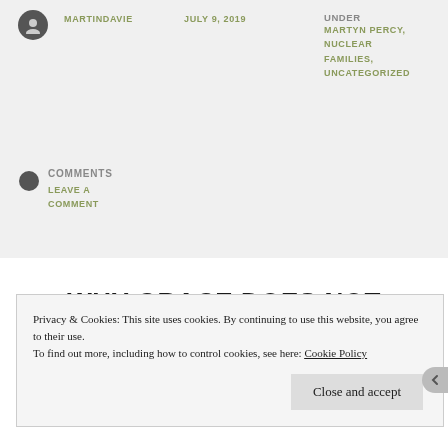MARTINDAVIE
JULY 9, 2019
UNDER MARTYN PERCY, NUCLEAR FAMILIES, UNCATEGORIZED
COMMENTS LEAVE A COMMENT
WHY GRACE DOES NOT
Privacy & Cookies: This site uses cookies. By continuing to use this website, you agree to their use. To find out more, including how to control cookies, see here: Cookie Policy
Close and accept